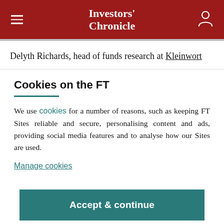Investors' Chronicle
Delyth Richards, head of funds research at Kleinwort
Cookies on the FT
We use cookies for a number of reasons, such as keeping FT Sites reliable and secure, personalising content and ads, providing social media features and to analyse how our Sites are used.
Manage cookies
Accept & continue